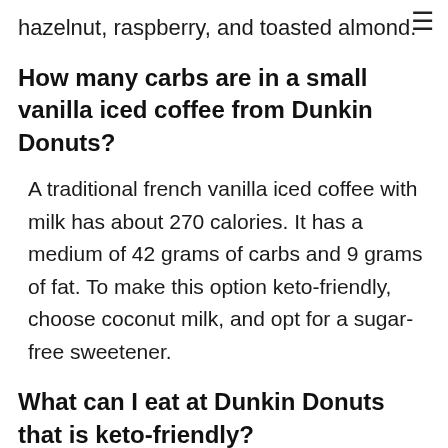☰
hazelnut, raspberry, and toasted almond.
How many carbs are in a small vanilla iced coffee from Dunkin Donuts?
A traditional french vanilla iced coffee with milk has about 270 calories. It has a medium of 42 grams of carbs and 9 grams of fat. To make this option keto-friendly, choose coconut milk, and opt for a sugar-free sweetener.
What can I eat at Dunkin Donuts that is keto-friendly?